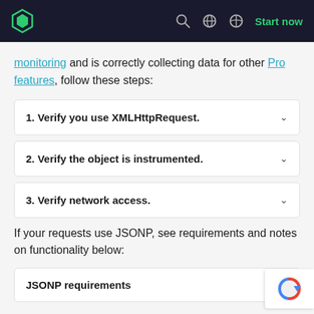New Relic documentation navigation bar with logo, search, globe, theme toggle, and Start now button
monitoring and is correctly collecting data for other Pro features, follow these steps:
1. Verify you use XMLHttpRequest.
2. Verify the object is instrumented.
3. Verify network access.
If your requests use JSONP, see requirements and notes on functionality below:
JSONP requirements